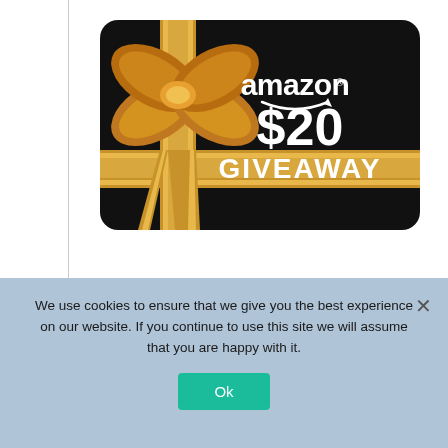[Figure (illustration): Amazon $20 Gift Card Giveaway image — black card with gold ribbon and bow, showing 'amazon' logo with smile arrow, '$20' in large white text, and 'GIVEAWAY' in large white text on a gold banner strip.]
We use cookies to ensure that we give you the best experience on our website. If you continue to use this site we will assume that you are happy with it.
Ok